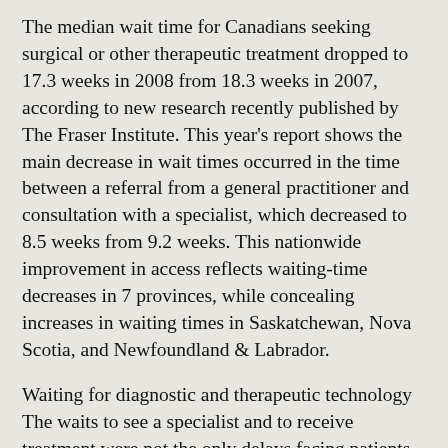The median wait time for Canadians seeking surgical or other therapeutic treatment dropped to 17.3 weeks in 2008 from 18.3 weeks in 2007, according to new research recently published by The Fraser Institute. This year's report shows the main decrease in wait times occurred in the time between a referral from a general practitioner and consultation with a specialist, which decreased to 8.5 weeks from 9.2 weeks. This nationwide improvement in access reflects waiting-time decreases in 7 provinces, while concealing increases in waiting times in Saskatchewan, Nova Scotia, and Newfoundland & Labrador.
Waiting for diagnostic and therapeutic technology The waits to see a specialist and to receive treatment were not the only delays facing patients in 2008. Patients also experienced significant waiting times for various diagnostic technologies across Canada: computed tomography (CT), magnetic resonance imaging (MRI), and ultrasound scans. The median wait for a CT scan across Canada rose slightly to 4.9 weeks from 4.8 weeks in 2007. Alberta and Ontario had the shortest wait for computed tomography (4.0 weeks), while the longest wait occurred in Prince Edward Island (19.0 weeks). The median wait for an MRI across Canada fell to 9.7 weeks from 10.1 weeks in 2007. In 2000-01, Statistics Canada